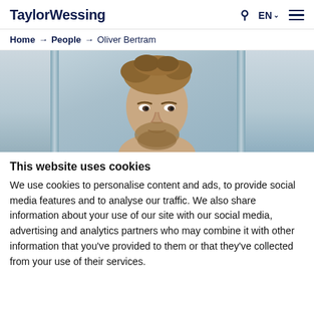TaylorWessing · EN · [hamburger menu]
Home → People → Oliver Bertram
[Figure (photo): Professional headshot of Oliver Bertram, a middle-aged man with tousled blonde-brown hair and a beard, photographed in front of glass architectural panels with a blurred background.]
This website uses cookies
We use cookies to personalise content and ads, to provide social media features and to analyse our traffic. We also share information about your use of our site with our social media, advertising and analytics partners who may combine it with other information that you've provided to them or that they've collected from your use of their services.